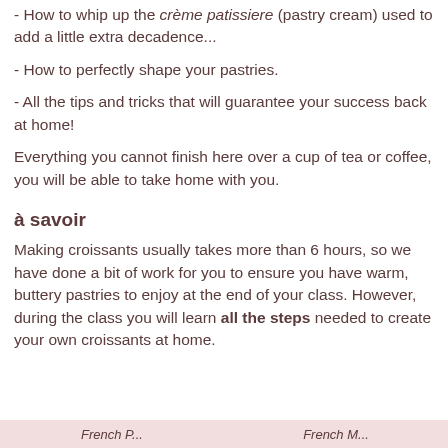- How to whip up the crème patissiere (pastry cream) used to add a little extra decadence...
- How to perfectly shape your pastries.
- All the tips and tricks that will guarantee your success back at home!
Everything you cannot finish here over a cup of tea or coffee, you will be able to take home with you.
à savoir
Making croissants usually takes more than 6 hours, so we have done a bit of work for you to ensure you have warm, buttery pastries to enjoy at the end of your class. However, during the class you will learn all the steps needed to create your own croissants at home.
French P... | French M...